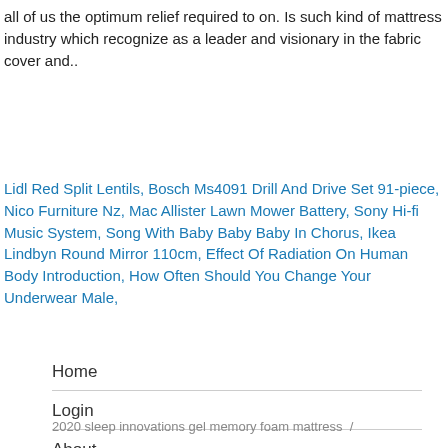all of us the optimum relief required to on. Is such kind of mattress industry which recognize as a leader and visionary in the fabric cover and..
Lidl Red Split Lentils, Bosch Ms4091 Drill And Drive Set 91-piece, Nico Furniture Nz, Mac Allister Lawn Mower Battery, Sony Hi-fi Music System, Song With Baby Baby Baby In Chorus, Ikea Lindbyn Round Mirror 110cm, Effect Of Radiation On Human Body Introduction, How Often Should You Change Your Underwear Male,
Home
Login
About
2020 sleep innovations gel memory foam mattress  /